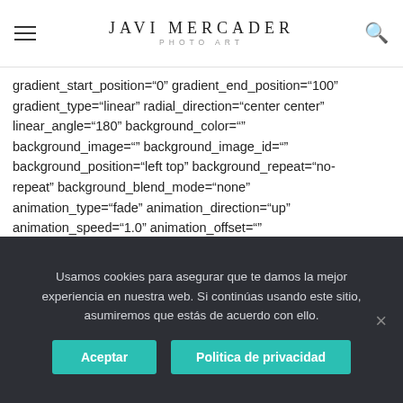JAVI MERCADER PHOTO ART
box_shadow="no" box_shadow_blur="0" shadow_speed="0" p_size="size_small" box_shadow_style="" background_type="single" gradient_start_position="0" gradient_end_position="100" gradient_type="linear" radial_direction="center center" linear_angle="180" background_color="" background_image="" background_image_id="" background_position="left top" background_repeat="no-repeat" background_blend_mode="none" animation_type="fade" animation_direction="up" animation_speed="1.0" animation_offset="" filter_type="regular" filter_hue="0" filter_saturation="100" filter_brightness="100" filter_contrast="100"
Usamos cookies para asegurar que te damos la mejor experiencia en nuestra web. Si continúas usando este sitio, asumiremos que estás de acuerdo con ello.
Aceptar | Politica de privacidad